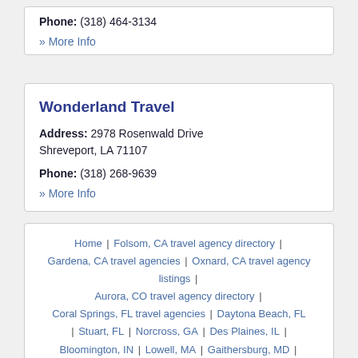Phone: (318) 464-3134
» More Info
Wonderland Travel
Address: 2978 Rosenwald Drive Shreveport, LA 71107
Phone: (318) 268-9639
» More Info
Home | Folsom, CA travel agency directory | Gardena, CA travel agencies | Oxnard, CA travel agency listings | Aurora, CO travel agency directory | Coral Springs, FL travel agencies | Daytona Beach, FL | Stuart, FL | Norcross, GA | Des Plaines, IL | Bloomington, IN | Lowell, MA | Gaithersburg, MD |